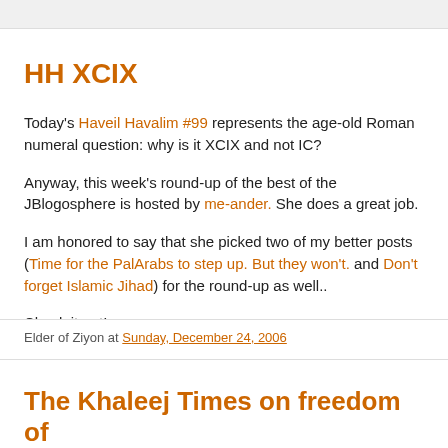HH XCIX
Today's Haveil Havalim #99 represents the age-old Roman numeral question: why is it XCIX and not IC?
Anyway, this week's round-up of the best of the JBlogosphere is hosted by me-ander. She does a great job.
I am honored to say that she picked two of my better posts (Time for the PalArabs to step up. But they won't. and Don't forget Islamic Jihad) for the round-up as well..
Check it out!
Elder of Ziyon at Sunday, December 24, 2006
The Khaleej Times on freedom of